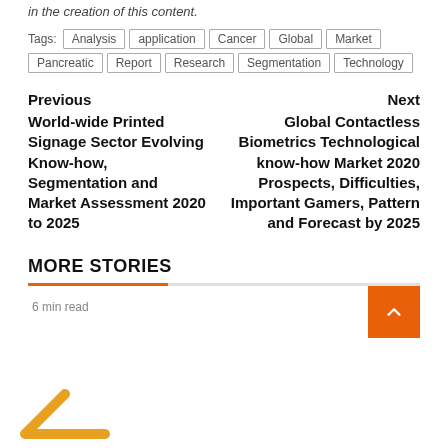in the creation of this content.
Tags: Analysis  application  Cancer  Global  Market  Pancreatic  Report  Research  Segmentation  Technology
Previous
World-wide Printed Signage Sector Evolving Know-how, Segmentation and Market Assessment 2020 to 2025
Next
Global Contactless Biometrics Technological know-how Market 2020 Prospects, Difficulties, Important Gamers, Pattern and Forecast by 2025
MORE STORIES
6 min read